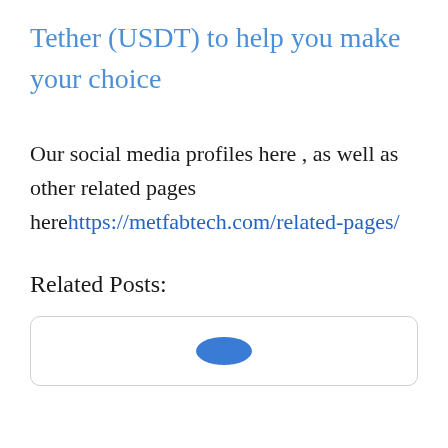Tether (USDT) to help you make your choice
Our social media profiles here , as well as other related pages here https://metfabtech.com/related-pages/
Related Posts:
[Figure (illustration): Card or logo icon in blue color inside a rounded rectangle box]